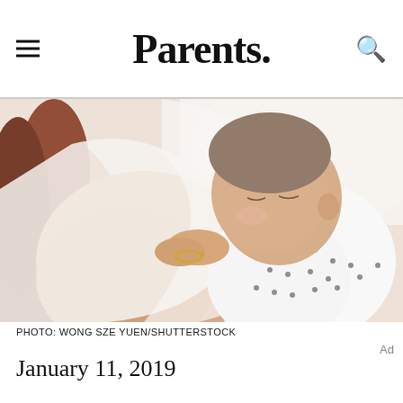Parents.
[Figure (photo): A mother breastfeeding her baby. The baby is wearing a white polka-dot outfit and a gold bracelet, eyes closed, nursing. The mother has long reddish-brown hair and is wearing a white robe.]
PHOTO: WONG SZE YUEN/SHUTTERSTOCK
January 11, 2019